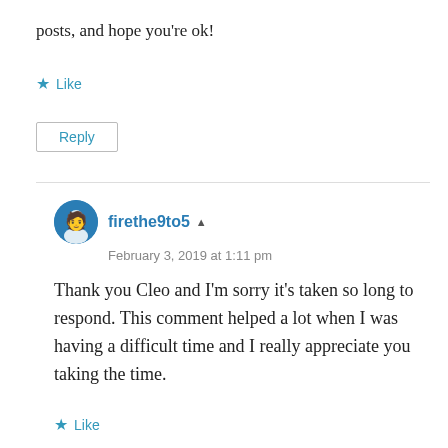posts, and hope you're ok!
★ Like
Reply
firethe9to5 ▲
February 3, 2019 at 1:11 pm
Thank you Cleo and I'm sorry it's taken so long to respond. This comment helped a lot when I was having a difficult time and I really appreciate you taking the time.
★ Like